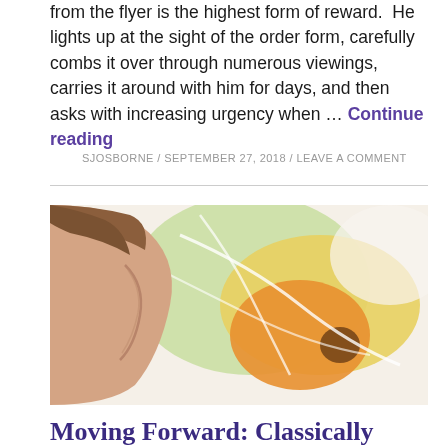from the flyer is the highest form of reward.  He lights up at the sight of the order form, carefully combs it over through numerous viewings, carries it around with him for days, and then asks with increasing urgency when … Continue reading
SJOSBORNE / SEPTEMBER 27, 2018 / LEAVE A COMMENT
[Figure (photo): Close-up photo of the back of a child's head/ear, with a colorful map or illustrated paper in the background showing yellow, orange, and green regions.]
Moving Forward: Classically